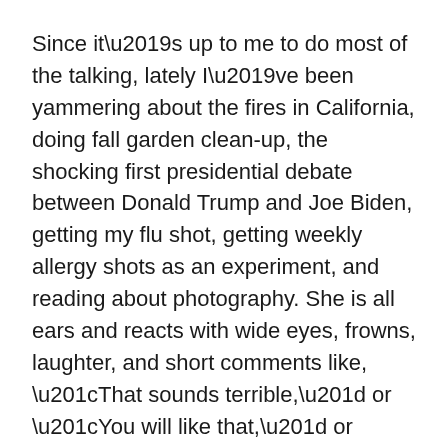Since it's up to me to do most of the talking, lately I've been yammering about the fires in California, doing fall garden clean-up, the shocking first presidential debate between Donald Trump and Joe Biden, getting my flu shot, getting weekly allergy shots as an experiment, and reading about photography. She is all ears and reacts with wide eyes, frowns, laughter, and short comments like, “That sounds terrible,” or “You will like that,” or “I hope you'll be okay.” In my book, that’s terrific.
I am very fortunate that she still knows me,